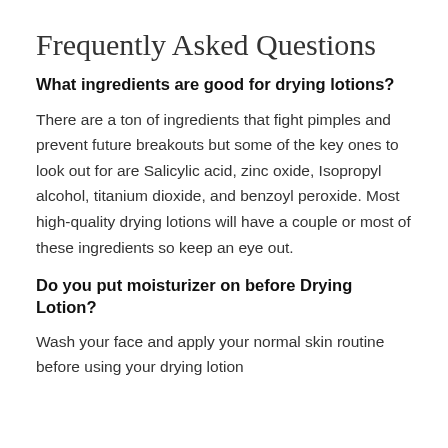Frequently Asked Questions
What ingredients are good for drying lotions?
There are a ton of ingredients that fight pimples and prevent future breakouts but some of the key ones to look out for are Salicylic acid, zinc oxide, Isopropyl alcohol, titanium dioxide, and benzoyl peroxide. Most high-quality drying lotions will have a couple or most of these ingredients so keep an eye out.
Do you put moisturizer on before Drying Lotion?
Wash your face and apply your normal skin routine before using your drying lotion